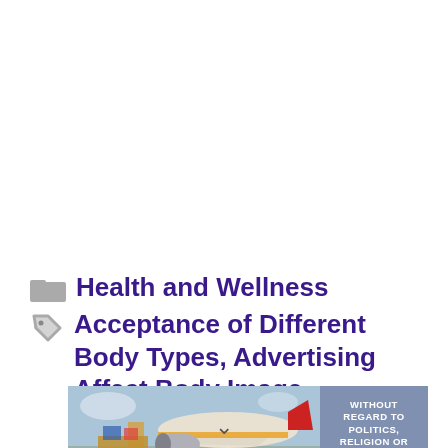Health and Wellness
Acceptance of Different Body Types, Advertising Affect Body Image,
[Figure (photo): Advertisement banner showing an airplane being loaded with cargo, with overlay text reading 'WITHOUT REGARD TO POLITICS, RELIGION OR ABILITY TO PAY']
↓